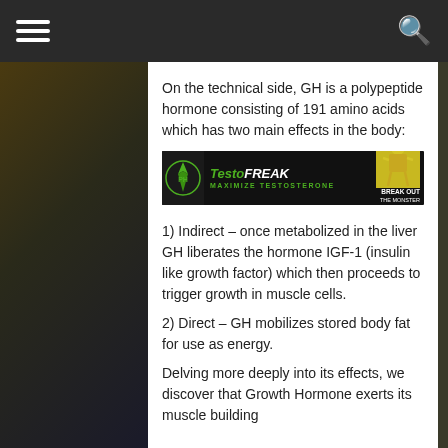On the technical side, GH is a polypeptide hormone consisting of 191 amino acids which has two main effects in the body:
[Figure (photo): Advertisement banner for TestoFREAK supplement – Maximize Testosterone. Shows green logo on left, yellow muscled figure on right, green and white text on black background.]
1) Indirect – once metabolized in the liver GH liberates the hormone IGF-1 (insulin like growth factor) which then proceeds to trigger growth in muscle cells.
2) Direct – GH mobilizes stored body fat for use as energy.
Delving more deeply into its effects, we discover that Growth Hormone exerts its muscle building